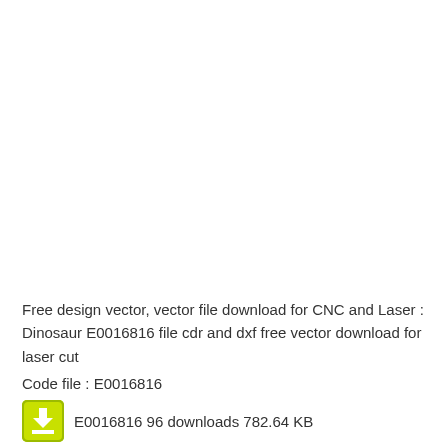Free design vector, vector file download for CNC and Laser : Dinosaur E0016816 file cdr and dxf free vector download for laser cut
Code file : E0016816
E0016816 96 downloads 782.64 KB